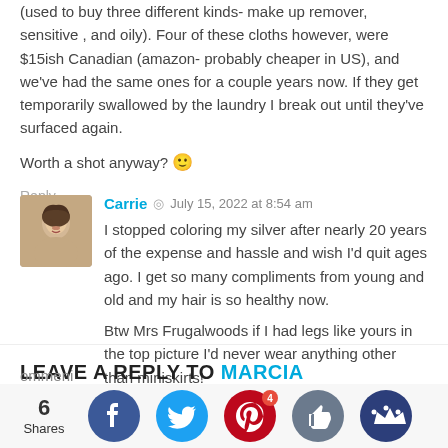(used to buy three different kinds- make up remover, sensitive, and oily). Four of these cloths however, were $15ish Canadian (amazon- probably cheaper in US), and we've had the same ones for a couple years now. If they get temporarily swallowed by the laundry I break out until they've surfaced again.

Worth a shot anyway? 🙂
Reply
Carrie  ◎  July 15, 2022 at 8:54 am
I stopped coloring my silver after nearly 20 years of the expense and hassle and wish I'd quit ages ago. I get so many compliments from young and old and my hair is so healthy now.

Btw Mrs Frugalwoods if I had legs like yours in the top picture I'd never wear anything other than miniskirts!
Reply
LEAVE A REPLY TO MARCIA
[Figure (infographic): Social sharing bar with share count (6 Shares), Facebook button, Twitter button, Pinterest button with badge 4, thumbs up button, and crown/bookmark button]